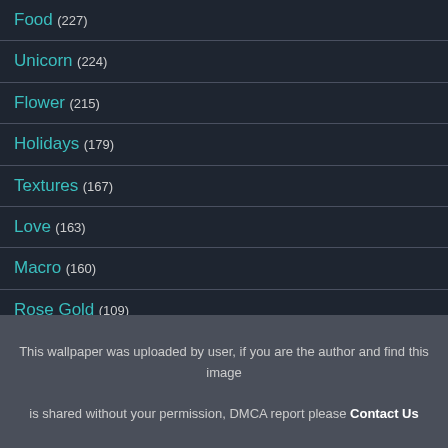Food (227)
Unicorn (224)
Flower (215)
Holidays (179)
Textures (167)
Love (163)
Macro (160)
Rose Gold (109)
Pastel (107)
Marble (83)
Architecture (41)
Holographic (21)
This wallpaper was uploaded by user, if you are the author and find this image is shared without your permission, DMCA report please Contact Us